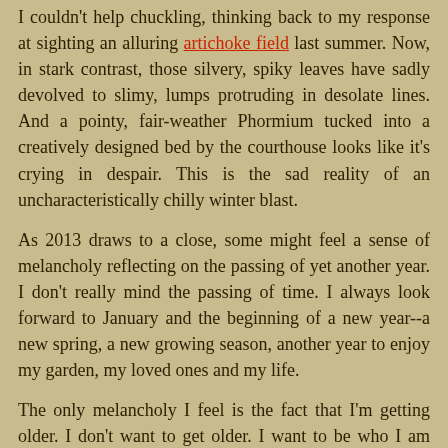I couldn't help chuckling, thinking back to my response at sighting an alluring artichoke field last summer. Now, in stark contrast, those silvery, spiky leaves have sadly devolved to slimy, lumps protruding in desolate lines. And a pointy, fair-weather Phormium tucked into a creatively designed bed by the courthouse looks like it's crying in despair. This is the sad reality of an uncharacteristically chilly winter blast.
As 2013 draws to a close, some might feel a sense of melancholy reflecting on the passing of yet another year. I don't really mind the passing of time. I always look forward to January and the beginning of a new year--a new spring, a new growing season, another year to enjoy my garden, my loved ones and my life.
The only melancholy I feel is the fact that I'm getting older. I don't want to get older. I want to be who I am right now for a very long time. I don't want my body or mind to fall into decline. It's taken a lot of hard work to be where I am today. I want to savor it for a few decades. That's all I ask.
Unfortunately a good portion of our life is out of our control.